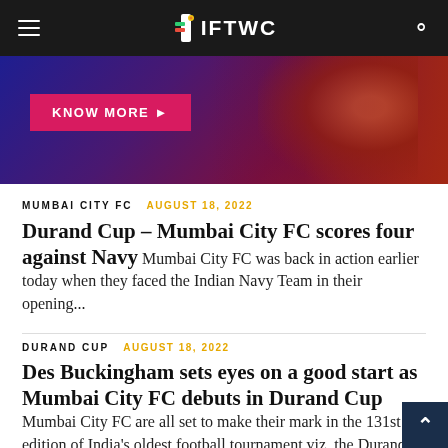IFTWC
[Figure (photo): Advertisement banner with dark blue-to-red gradient background, a hand visible on the right, and a pink 'KNOW MORE ▶' button on the left.]
MUMBAI CITY FC   AUGUST 18, 2022
Durand Cup – Mumbai City FC scores four against Navy
Mumbai City FC was back in action earlier today when they faced the Indian Navy Team in their opening...
DURAND CUP   AUGUST 18, 2022
Des Buckingham sets eyes on a good start as Mumbai City FC debuts in Durand Cup
Mumbai City FC are all set to make their mark in the 131st edition of India's oldest football tournament viz. the Durand Cup. Head coach Des Buckingham along with defender Rahul Bheke addressed the media before kicking off their maiden